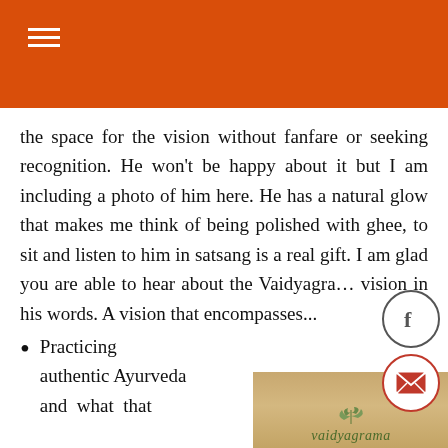the space for the vision without fanfare or seeking recognition. He won't be happy about it but I am including a photo of him here. He has a natural glow that makes me think of being polished with ghee, to sit and listen to him in satsang is a real gift. I am glad you are able to hear about the Vaidyagrama vision in his words. A vision that encompasses...
Practicing authentic Ayurveda and what that
[Figure (photo): Photo showing a card or book with the word 'vaidyagrama' written in a cursive/handwritten style with a tree/plant illustration above it, on a warm brown/golden background]